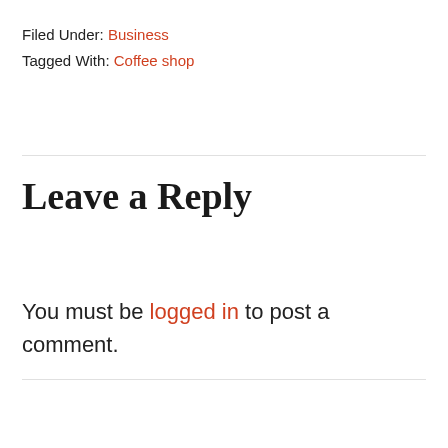Filed Under: Business
Tagged With: Coffee shop
Leave a Reply
You must be logged in to post a comment.